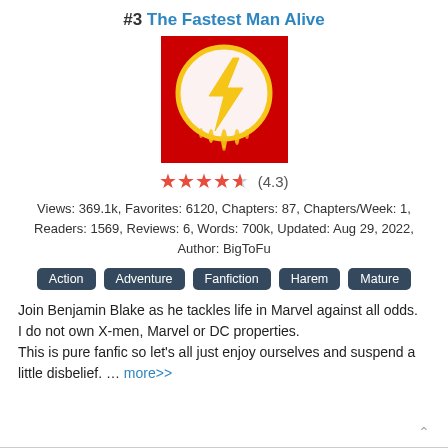#3 The Fastest Man Alive
[Figure (illustration): Red background comic-style cover image with a yellow Flash lightning bolt symbol in a white circle with dripping paint effect]
★★★★★ (4.3)
Views: 369.1k, Favorites: 6120, Chapters: 87, Chapters/Week: 1, Readers: 1569, Reviews: 6, Words: 700k, Updated: Aug 29, 2022, Author: BigToFu
Action
Adventure
Fanfiction
Harem
Mature
Join Benjamin Blake as he tackles life in Marvel against all odds. I do not own X-men, Marvel or DC properties. This is pure fanfic so let's all just enjoy ourselves and suspend a little disbelief. ... more>>